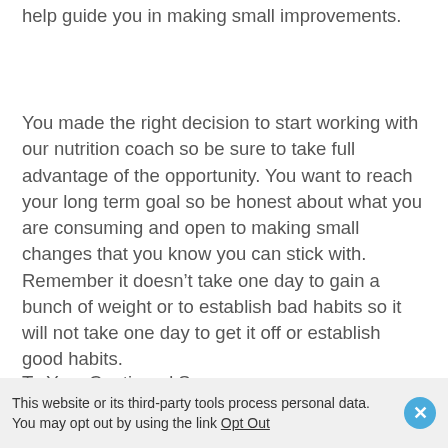help guide you in making small improvements.
You made the right decision to start working with our nutrition coach so be sure to take full advantage of the opportunity. You want to reach your long term goal so be honest about what you are consuming and open to making small changes that you know you can stick with. Remember it doesn't take one day to gain a bunch of weight or to establish bad habits so it will not take one day to get it off or establish good habits.
To Your Continued Success,
This website or its third-party tools process personal data. You may opt out by using the link Opt Out